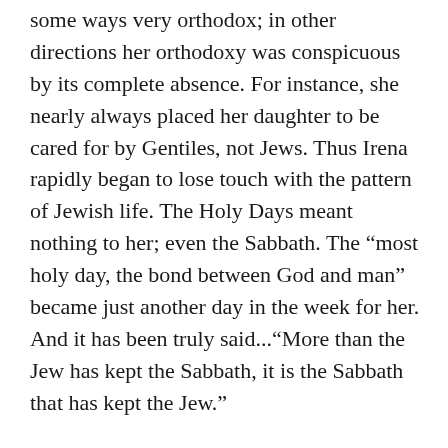some ways very orthodox; in other directions her orthodoxy was conspicuous by its complete absence. For instance, she nearly always placed her daughter to be cared for by Gentiles, not Jews. Thus Irena rapidly began to lose touch with the pattern of Jewish life. The Holy Days meant nothing to her; even the Sabbath. The “most holy day, the bond between God and man” became just another day in the week for her. And it has been truly said...“More than the Jew has kept the Sabbath, it is the Sabbath that has kept the Jew.”
Yet although Irena lost her Jewish observances, she was conscious always that in the eyes of the outside world she was marked for life as a separate person, a Jew, somebody slightly